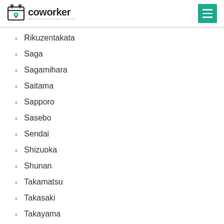coworker — #WORKSPACESDELIVERED
Rikuzentakata
Saga
Sagamihara
Saitama
Sapporo
Sasebo
Sendai
Shizuoka
Shunan
Takamatsu
Takasaki
Takayama
Tokyo
Tottori
Toyama